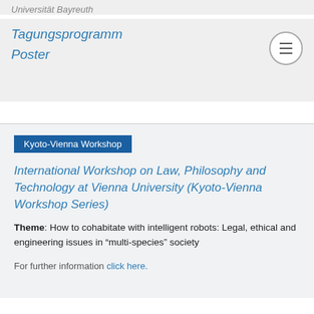Universität Bayreuth
Tagungsprogramm
Poster
Kyoto-Vienna Workshop
International Workshop on Law, Philosophy and Technology at Vienna University (Kyoto-Vienna Workshop Series)
Theme: How to cohabitate with intelligent robots: Legal, ethical and engineering issues in “multi-species” society
For further information click here.